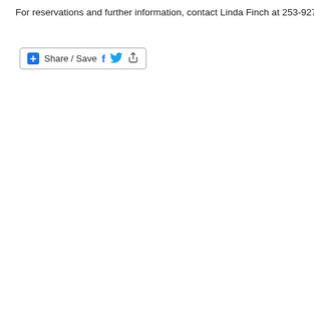For reservations and further information, contact Linda Finch at 253-927-8207 o
[Figure (other): Share / Save social sharing button with Facebook, Twitter, and generic share icons]